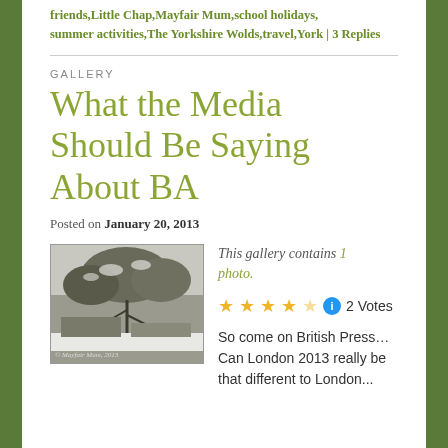friends, Little Chap, Mayfair Mum, school holidays, summer activities, The Yorkshire Wolds, travel, York | 3 Replies
GALLERY
What the Media Should Be Saying About BA
Posted on January 20, 2013
[Figure (photo): Black and white photograph of snow-covered trees and a building, with caption '© Mayfair Mum, 2013']
This gallery contains 1 photo.
★★★★½ ℹ 2 Votes
So come on British Press… Can London 2013 really be that different to London...